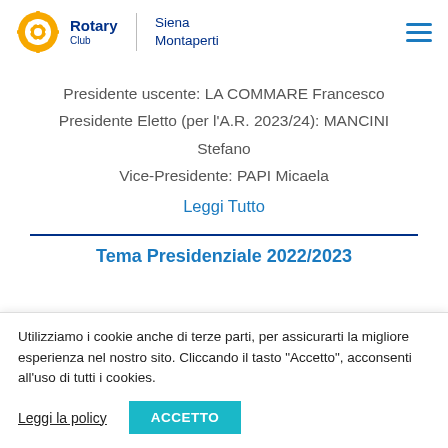Rotary Club | Siena Montaperti
Presidente uscente: LA COMMARE Francesco
Presidente Eletto (per l'A.R. 2023/24): MANCINI Stefano
Vice-Presidente: PAPI Micaela
Leggi Tutto
Tema Presidenziale 2022/2023
Utilizziamo i cookie anche di terze parti, per assicurarti la migliore esperienza nel nostro sito. Cliccando il tasto "Accetto", acconsenti all'uso di tutti i cookies.
Leggi la policy
ACCETTO